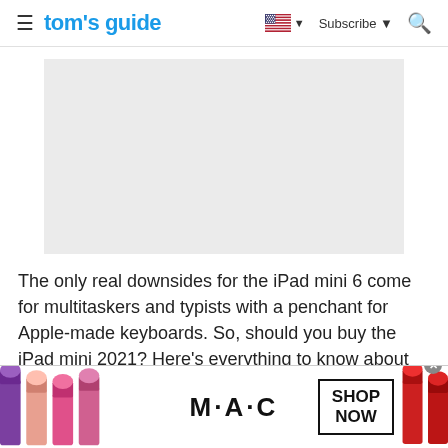tom's guide — Subscribe — Search
[Figure (other): Gray placeholder advertisement rectangle]
The only real downsides for the iPad mini 6 come for multitaskers and typists with a penchant for Apple-made keyboards. So, should you buy the iPad mini 2021? Here's everything to know about why Apple's smallest iPad is one of its biggest updates.
[Figure (other): MAC Cosmetics advertisement banner with lipsticks and SHOP NOW button]